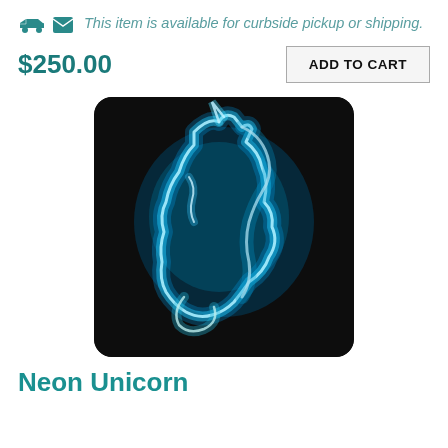This item is available for curbside pickup or shipping.
$250.00
ADD TO CART
[Figure (photo): A neon sign of a unicorn head glowing in blue neon light on a dark background]
Neon Unicorn